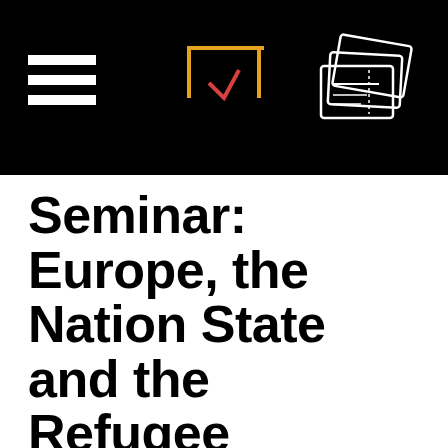[Figure (logo): Black header bar with hamburger menu icon on left, stylized geometric logo (orange/red lines forming a rectangle shape) in center top, and ticket/card icons outline on the right.]
Seminar: Europe, the Nation State and the Refugee
DATUM: ONS 7 SEP, 2016
In relation to the Swedish release of Fire at Sea / Bortom Lampedusa /Fuocoammare, Panora hosts a seminar on the current state of European jurisdiction, - identity and the image of refugees. The